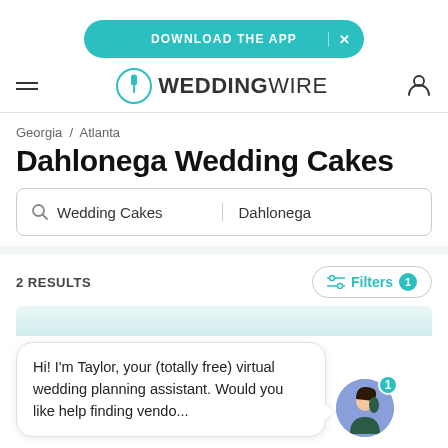[Figure (screenshot): WeddingWire website screenshot showing download app banner, navigation bar with logo, breadcrumb Georgia / Atlanta, page title Dahlonega Wedding Cakes, search bar with Wedding Cakes and Dahlonega fields, 2 results count with Filters button, and Taylor chatbot bubble.]
DOWNLOAD THE APP
[Figure (logo): WeddingWire logo with tulip icon and WEDDINGWIRE text in teal and black]
Georgia / Atlanta
Dahlonega Wedding Cakes
Wedding Cakes | Dahlonega
2 RESULTS
Hi! I'm Taylor, your (totally free) virtual wedding planning assistant. Would you like help finding vendo...